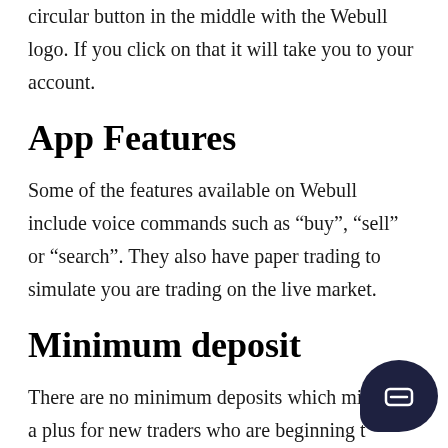circular button in the middle with the Webull logo. If you click on that it will take you to your account.
App Features
Some of the features available on Webull include voice commands such as “buy”, “sell” or “search”. They also have paper trading to simulate you are trading on the live market.
Minimum deposit
There are no minimum deposits which might be a plus for new traders who are beginning to